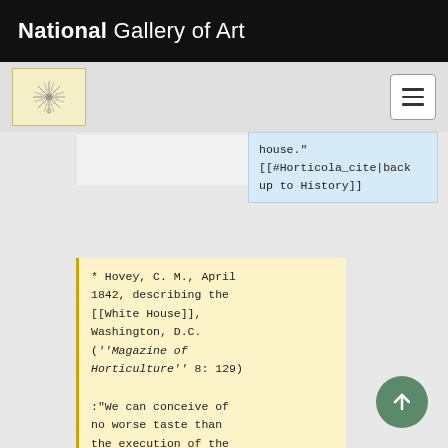National Gallery of Art
[Figure (logo): Art icon with radial starburst design on cream background]
house."
[[#Horticola_cite|back up to History]]
* Hovey, C. M., April 1842, describing the [[White House]], Washington, D.C. (''Magazine of Horticulture'' 8: 129)
:"We can conceive of no worse taste than the execution of the work as it now is: the object of these mounds seems to have been to